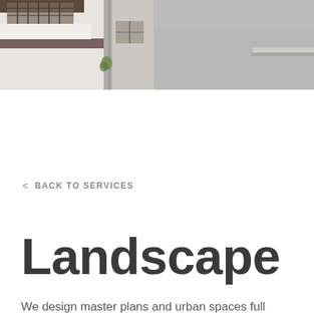[Figure (photo): Wide photo strip showing exterior architecture of buildings. Left portion shows a white building facade with dark-framed windows/balcony and a narrow alleyway with a small plant visible. Right portion shows a plain grey wall with a small roof overhang visible at the right edge.]
< BACK TO SERVICES
Landscape
We design master plans and urban spaces full